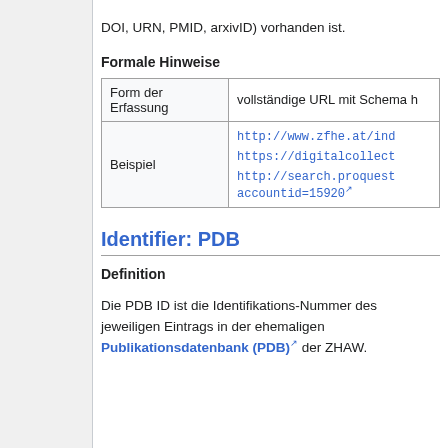DOI, URN, PMID, arxivID) vorhanden ist.
Formale Hinweise
| Form der Erfassung | vollständige URL mit Schema h... |
| --- | --- |
| Beispiel | http://www.zfhe.at/ind...
https://digitalcollect...
http://search.proquest... accountid=15920 |
Identifier: PDB
Definition
Die PDB ID ist die Identifikations-Nummer des jeweiligen Eintrags in der ehemaligen Publikationsdatenbank (PDB) der ZHAW.